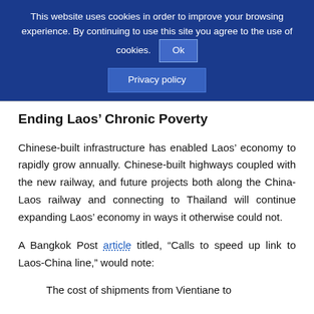This website uses cookies in order to improve your browsing experience. By continuing to use this site you agree to the use of cookies. Ok
Privacy policy
Ending Laos’ Chronic Poverty
Chinese-built infrastructure has enabled Laos’ economy to rapidly grow annually. Chinese-built highways coupled with the new railway, and future projects both along the China-Laos railway and connecting to Thailand will continue expanding Laos’ economy in ways it otherwise could not.
A Bangkok Post article titled, “Calls to speed up link to Laos-China line,” would note:
The cost of shipments from Vientiane to